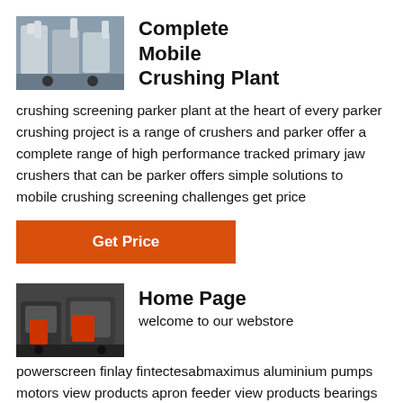[Figure (photo): Industrial mobile crushing plant equipment with white tanks/containers outdoors]
Complete Mobile Crushing Plant
crushing screening parker plant at the heart of every parker crushing project is a range of crushers and parker offer a complete range of high performance tracked primary jaw crushers that can be parker offers simple solutions to mobile crushing screening challenges get price
Get Price
[Figure (photo): Industrial home page image showing large red and grey crushing/screening machinery]
Home Page
welcome to our webstore powerscreen finlay fintectesabmaximus aluminium pumps motors view products apron feeder view products bearings view